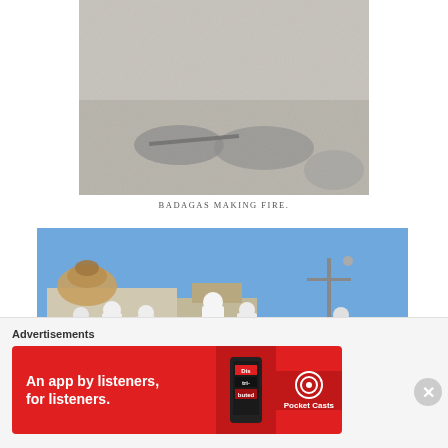[Figure (photo): Black and white historical photograph of Badagas people making fire, figures crouching on the ground]
BADAGAS MAKING FIRE.
[Figure (photo): Color photograph of people dressed in white garments walking near a temple/religious building with ornate architecture and a utility pole in the background]
Advertisements
[Figure (other): Advertisement banner for Pocket Casts app: 'An app by listeners, for listeners.' with Pocket Casts logo and phone image]